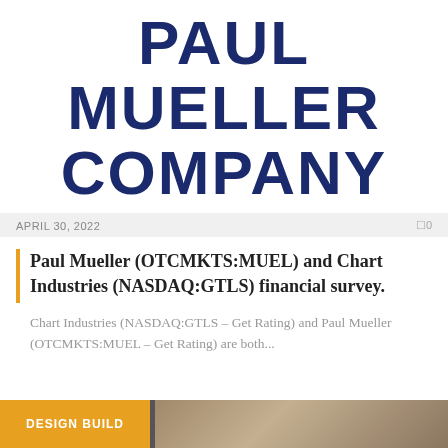[Figure (logo): Paul Mueller Company logo in large dark navy bold uppercase letters]
APRIL 30, 2022
0
Paul Mueller (OTCMKTS:MUEL) and Chart Industries (NASDAQ:GTLS) financial survey.
Chart Industries (NASDAQ:GTLS – Get Rating) and Paul Mueller (OTCMKTS:MUEL – Get Rating) are both...
[Figure (photo): Bottom strip with DESIGN BUILD label on orange background and photo thumbnails]